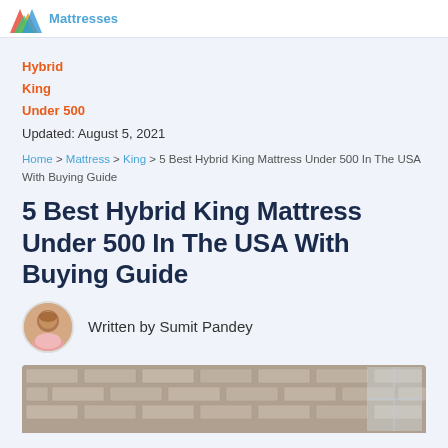Mattresses
Hybrid
King
Under 500
Updated: August 5, 2021
Home > Mattress > King > 5 Best Hybrid King Mattress Under 500 In The USA With Buying Guide
5 Best Hybrid King Mattress Under 500 In The USA With Buying Guide
Written by Sumit Pandey
[Figure (photo): Hero image showing a bedroom interior with brick wall background]